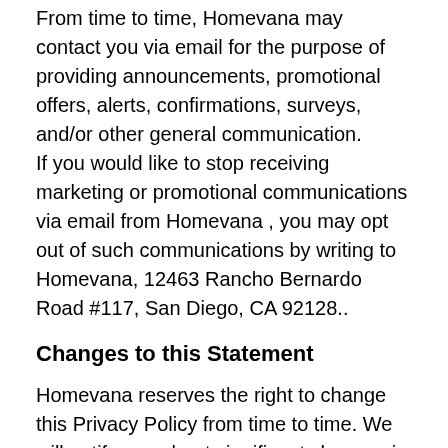From time to time, Homevana may contact you via email for the purpose of providing announcements, promotional offers, alerts, confirmations, surveys, and/or other general communication. If you would like to stop receiving marketing or promotional communications via email from Homevana , you may opt out of such communications by writing to Homevana, 12463 Rancho Bernardo Road #117, San Diego, CA 92128..
Changes to this Statement
Homevana reserves the right to change this Privacy Policy from time to time. We will notify you about significant changes in the way we treat personal information by sending a notice to the primary email address specified in your account, by placing a prominent notice on our website , and/or by updating any privacy information. Your continued use of the website and/or Services available after